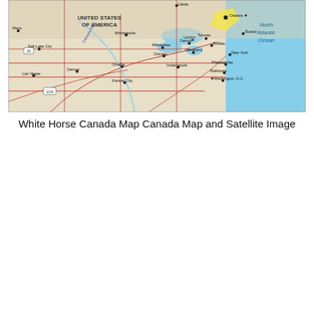[Figure (map): Partial map of southern Canada and northern United States showing major cities, roads, and geographic features. Visible regions include parts of the US Midwest and Northeast, southern Canadian provinces, and the North Atlantic Ocean. Cities labeled include Ottawa, Toronto, Buffalo, Boston, New York, Philadelphia, Baltimore, Washington D.C., Cleveland, Detroit, Milwaukee, Minneapolis, Chicago, Indianapolis, Omaha, Denver, Kansas City, Salt Lake City, Las Vegas, and others.]
White Horse Canada Map Canada Map and Satellite Image